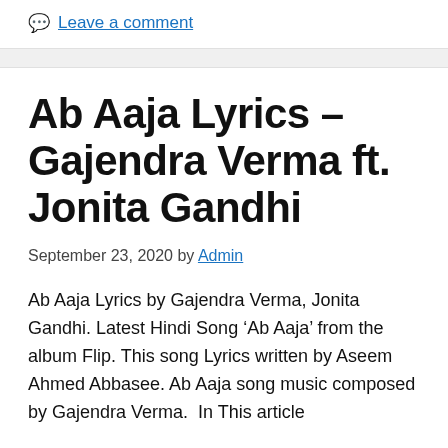Leave a comment
Ab Aaja Lyrics – Gajendra Verma ft. Jonita Gandhi
September 23, 2020 by Admin
Ab Aaja Lyrics by Gajendra Verma, Jonita Gandhi. Latest Hindi Song 'Ab Aaja' from the album Flip. This song Lyrics written by Aseem Ahmed Abbasee. Ab Aaja song music composed by Gajendra Verma.  In This article